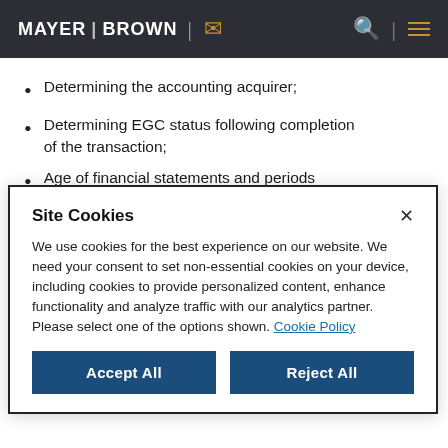MAYER BROWN
Determining the accounting acquirer;
Determining EGC status following completion of the transaction;
Age of financial statements and periods required to be presented;
The super 8-K requirement; and
Site Cookies

We use cookies for the best experience on our website. We need your consent to set non-essential cookies on your device, including cookies to provide personalized content, enhance functionality and analyze traffic with our analytics partner. Please select one of the options shown. Cookie Policy

[Accept All] [Reject All]